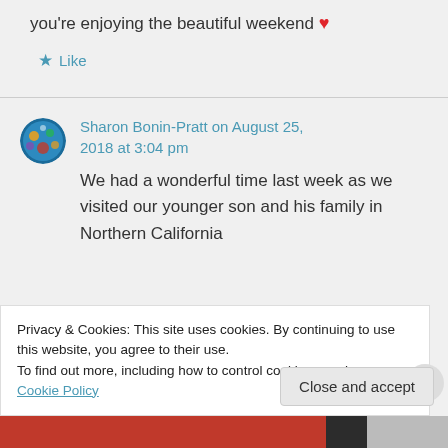you're enjoying the beautiful weekend ❤
★ Like
Sharon Bonin-Pratt on August 25, 2018 at 3:04 pm
We had a wonderful time last week as we visited our younger son and his family in Northern California
Privacy & Cookies: This site uses cookies. By continuing to use this website, you agree to their use.
To find out more, including how to control cookies, see here: Cookie Policy
Close and accept